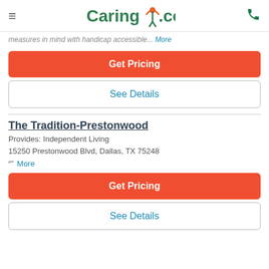Caring.com
measures in mind with handicap accessible... More
Get Pricing
See Details
The Tradition-Prestonwood
Provides: Independent Living
15250 Prestonwood Blvd, Dallas, TX 75248
"" More
Get Pricing
See Details